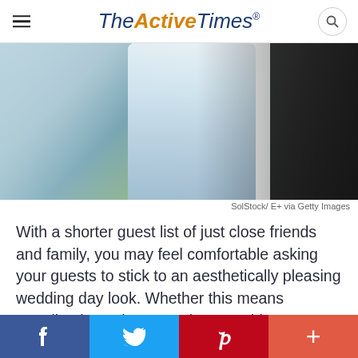TheActiveTimes
[Figure (photo): Wedding couple, woman in light blue lace dress and man in dark suit, outdoors]
SolStock/ E+ via Getty Images
With a shorter guest list of just close friends and family, you may feel comfortable asking your guests to stick to an aesthetically pleasing wedding day look. Whether this means coordinating colors or styles, consider requesting that your guests stick to a dress code you like to help ensure your visual vision comes across as desired.
f  Twitter  P  +